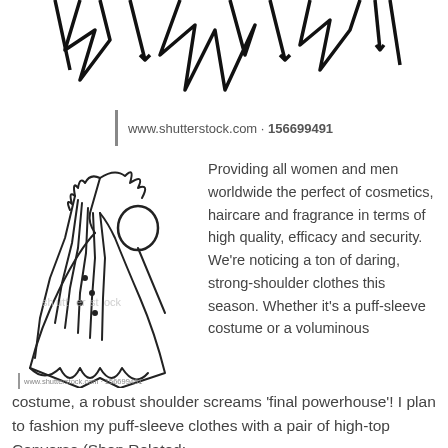[Figure (illustration): Top portion of a stylized black-and-white illustration of a figure in a dramatic costume with star/crown shapes at top, partially cut off at the top of the page.]
www.shutterstock.com · 156699491
[Figure (illustration): Black-and-white sketch illustration of a figure (possibly a witch or wizard) in a flowing cape/dress with raised arm and hat, watermarked with shutterstock logo and text 'www.shutterstock.com · 156699491'.]
Providing all women and men worldwide the perfect of cosmetics, haircare and fragrance in terms of high quality, efficacy and security. We're noticing a ton of daring, strong-shoulder clothes this season. Whether it's a puff-sleeve costume or a voluminous costume, a robust shoulder screams 'final powerhouse'! I plan to fashion my puff-sleeve clothes with a pair of high-top Converse (Shop Related: